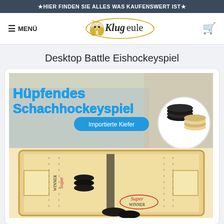★HIER FINDEN SIE ALLES WAS KAUFENSWERT IST★
[Figure (logo): Klugeule logo with owl icon and navigation bar including MENÜ and cart icon]
Desktop Battle Eishockeyspiel
[Figure (photo): Product image showing a wooden desktop sling puck hockey game board with black and natural wooden pucks. Top portion shows a child playing the game with text 'Hüpfendes Schachhockeyspiel' in blue bold font and a blue badge reading 'Importierte Kiefer'. A circular inset shows stacked black and natural pucks. Bottom portion shows the wooden game board with rubber band sling mechanism and 'Super Winner' branding.]